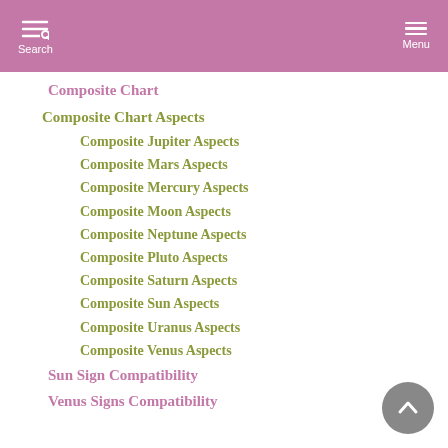Search  Menu
Composite Chart
Composite Chart Aspects
Composite Jupiter Aspects
Composite Mars Aspects
Composite Mercury Aspects
Composite Moon Aspects
Composite Neptune Aspects
Composite Pluto Aspects
Composite Saturn Aspects
Composite Sun Aspects
Composite Uranus Aspects
Composite Venus Aspects
Sun Sign Compatibility
Venus Signs Compatibility